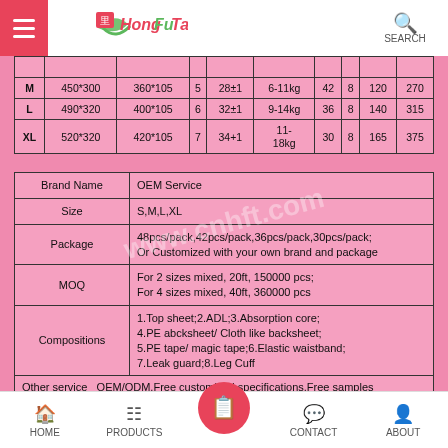HongFuTai — SEARCH
| Size | Diaper Size | Core Size | Layers | Weight | Baby Weight | Pcs/Pack | Roll | Pcs/Ctn | G/Ctn |
| --- | --- | --- | --- | --- | --- | --- | --- | --- | --- |
| M | 450*300 | 360*105 | 5 | 28±1 | 6-11kg | 42 | 8 | 120 | 270 |
| L | 490*320 | 400*105 | 6 | 32±1 | 9-14kg | 36 | 8 | 140 | 315 |
| XL | 520*320 | 420*105 | 7 | 34+1 | 11-18kg | 30 | 8 | 165 | 375 |
| Field | Value |
| --- | --- |
| Brand Name | OEM Service |
| Size | S,M,L,XL |
| Package | 48pcs/pack,42pcs/pack,36pcs/pack,30pcs/pack;
Or Customized with your own brand and package |
| MOQ | For 2 sizes mixed, 20ft, 150000 pcs;
For 4 sizes mixed, 40ft, 360000 pcs |
| Compositions | 1.Top sheet;2.ADL;3.Absorption core;
4.PE abcksheet/ Cloth like backsheet;
5.PE tape/ magic tape;6.Elastic waistband;
7.Leak guard;8.Leg Cuff |
| Other service | OEM/ODM,Free customized specifications,Free samples |
| Certificate | CE,ISO,NAFDAC,SGS... |
HOME  PRODUCTS  CONTACT  ABOUT